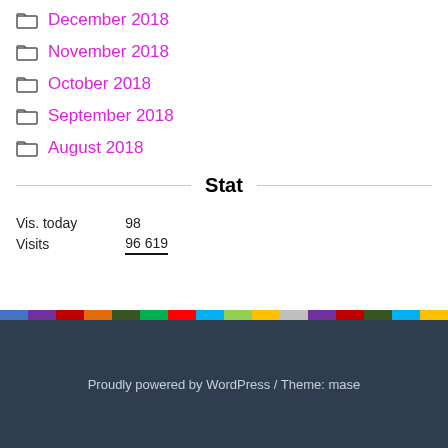December 2018
November 2018
October 2018
September 2018
August 2018
Stat
|  |  |
| --- | --- |
| Vis. today | 98 |
| Visits | 96 619 |
Proudly powered by WordPress / Theme: mase